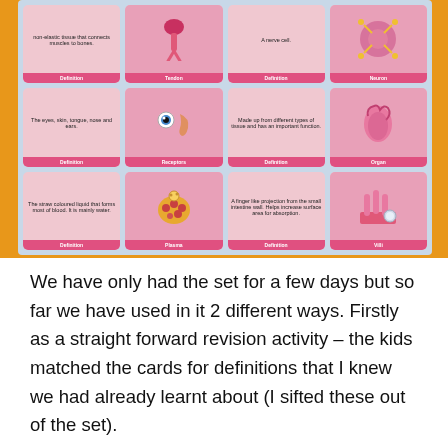[Figure (photo): A photograph of biology flashcards arranged in a 4x3 grid on a light blue sheet, placed on an orange background. Cards show definitions and illustrations for: Tendon, Neuron, Receptors, Organ, Plasma, and Villi. Each card pair shows a text definition card and an image card with a pink label bar at the bottom.]
We have only had the set for a few days but so far we have used in it 2 different ways. Firstly as a straight forward revision activity – the kids matched the cards for definitions that I knew we had already learnt about (I sifted these out of the set).